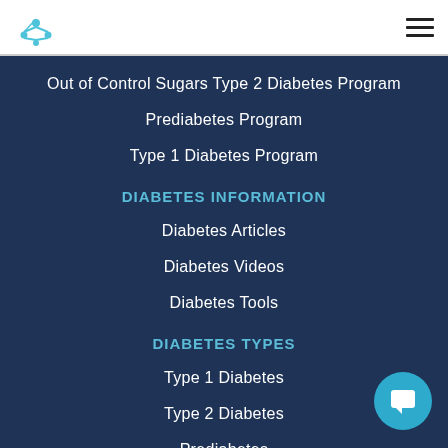[Figure (logo): Teal/blue molecular network logo icon]
Out of Control Sugars Type 2 Diabetes Program
Prediabetes Program
Type 1 Diabetes Program
DIABETES INFORMATION
Diabetes Articles
Diabetes Videos
Diabetes Tools
DIABETES TYPES
Type 1 Diabetes
Type 2 Diabetes
Prediabetes
Gestational Diabetes